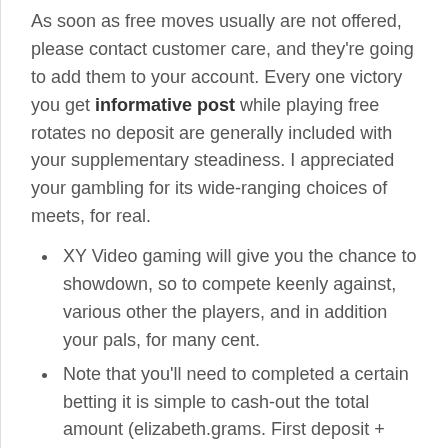As soon as free moves usually are not offered, please contact customer care, and they're going to add them to your account. Every one victory you get informative post while playing free rotates no deposit are generally included with your supplementary steadiness. I appreciated your gambling for its wide-ranging choices of meets, for real.
XY Video gaming will give you the chance to showdown, so to compete keenly against, various other the players, and in addition your pals, for many cent.
Note that you'll need to completed a certain betting it is simple to cash-out the total amount (elizabeth.grams. First deposit + Other x30).
Region Winner means that you can activities fits that could pay out actual money.